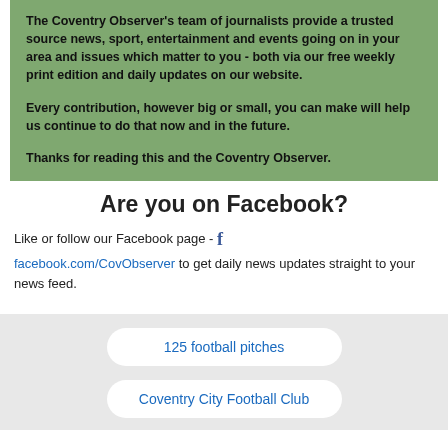The Coventry Observer's team of journalists provide a trusted source news, sport, entertainment and events going on in your area and issues which matter to you - both via our free weekly print edition and daily updates on our website.

Every contribution, however big or small, you can make will help us continue to do that now and in the future.

Thanks for reading this and the Coventry Observer.
Are you on Facebook?
Like or follow our Facebook page - [f icon] facebook.com/CovObserver to get daily news updates straight to your news feed.
125 football pitches
Coventry City Football Club